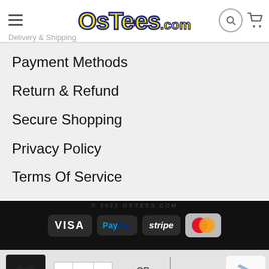OsTees.com
Delivery & Shipping
Payment Methods
Return & Refund
Secure Shopping
Privacy Policy
Terms Of Service
[Figure (logo): Payment method logos: VISA, PayPal, stripe, MasterCard on dark background]
[Figure (screenshot): Add to cart bar with t-shirt thumbnail, quantity selector showing 1, OR divider, and green ADD TO CART button]